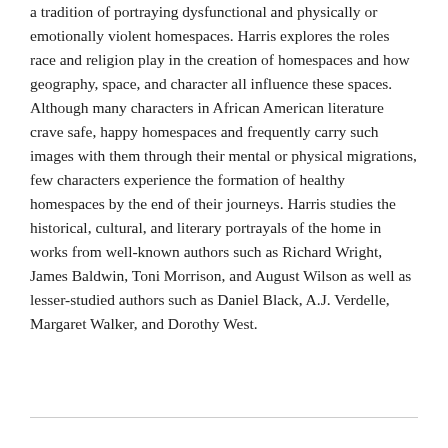a tradition of portraying dysfunctional and physically or emotionally violent homespaces. Harris explores the roles race and religion play in the creation of homespaces and how geography, space, and character all influence these spaces. Although many characters in African American literature crave safe, happy homespaces and frequently carry such images with them through their mental or physical migrations, few characters experience the formation of healthy homespaces by the end of their journeys. Harris studies the historical, cultural, and literary portrayals of the home in works from well-known authors such as Richard Wright, James Baldwin, Toni Morrison, and August Wilson as well as lesser-studied authors such as Daniel Black, A.J. Verdelle, Margaret Walker, and Dorothy West.